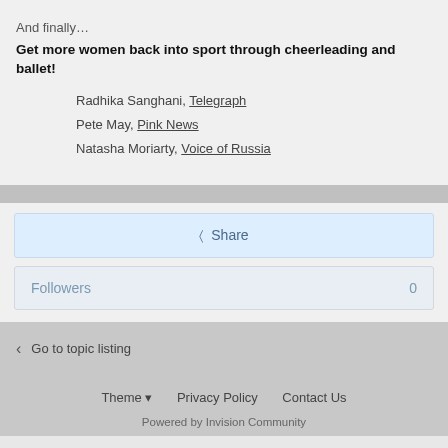And finally…
Get more women back into sport through cheerleading and ballet!
Radhika Sanghani, Telegraph
Pete May, Pink News
Natasha Moriarty, Voice of Russia
Share
Followers  0
Go to topic listing
Theme  Privacy Policy  Contact Us
Powered by Invision Community